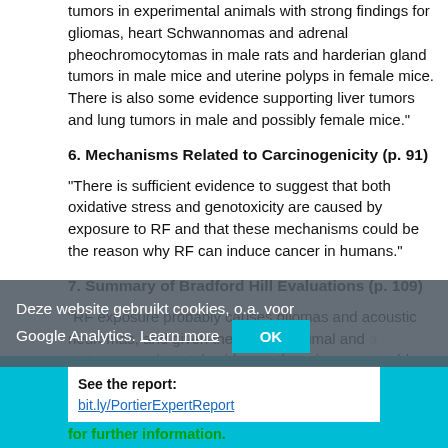tumors in experimental animals with strong findings for gliomas, heart Schwannomas and adrenal pheochromocytomas in male rats and harderian gland tumors in male mice and uterine polyps in female mice. There is also some evidence supporting liver tumors and lung tumors in male and possibly female mice."
6. Mechanisms Related to Carcinogenicity (p. 91)
"There is sufficient evidence to suggest that both oxidative stress and genotoxicity are caused by exposure to RF and that these mechanisms could be the reason why RF can induce cancer in humans."
7. Summary of Bradford Hill Evaluations (p. 109)
"RF exposure probably causes gliomas and acoustic neuromas, and given the human, animal and experimental evidence, there is a reasonable degree of scientific certainty, the probability that RF exposure causes these cancers is high."
See the report: bit.ly/PortierExpertReport for further information.